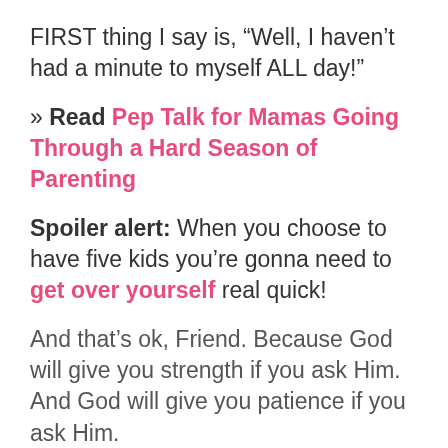FIRST thing I say is, “Well, I haven’t had a minute to myself ALL day!”
» Read Pep Talk for Mamas Going Through a Hard Season of Parenting
Spoiler alert: When you choose to have five kids you’re gonna need to get over yourself real quick!
And that’s ok, Friend. Because God will give you strength if you ask Him. And God will give you patience if you ask Him.